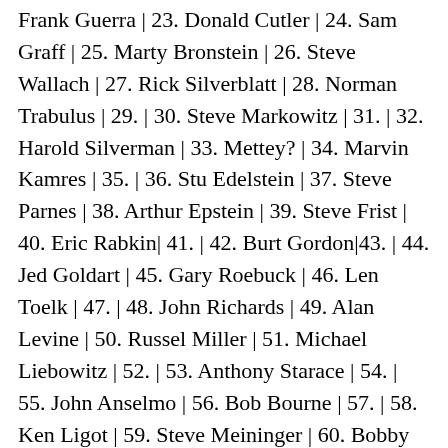Frank Guerra | 23. Donald Cutler | 24. Sam Graff | 25. Marty Bronstein | 26. Steve Wallach | 27. Rick Silverblatt | 28. Norman Trabulus | 29. | 30. Steve Markowitz | 31. | 32. Harold Silverman | 33. Mettey? | 34. Marvin Kamres | 35. | 36. Stu Edelstein | 37. Steve Parnes | 38. Arthur Epstein | 39. Steve Frist | 40. Eric Rabkin| 41. | 42. Burt Gordon|43. | 44. Jed Goldart | 45. Gary Roebuck | 46. Len Toelk | 47. | 48. John Richards | 49. Alan Levine | 50. Russel Miller | 51. Michael Liebowitz | 52. | 53. Anthony Starace | 54. | 55. John Anselmo | 56. Bob Bourne | 57. | 58. Ken Ligot | 59. Steve Meininger | 60. Bobby Colomby | 61. George Krasilovsky | 62. Harry Malakoff | 63. Donny Nussbaum | 64. Michael Bloomstein | 65. Joe Albeck | 66. Steve Shestakofsky | 67. Ian Bruce Eichner | 68. Fidel Nabor | 69. Stanley Litow | 70. Howard Medoff | 71. Martin Miller | 72. Alex Nacht | 73. Steve Fishman | 74. Andrij Szul | 75. Jerrold Goldman | 76. Harold Bloomfield | 77. Stan Mandell | 78. Neal Hurwitz